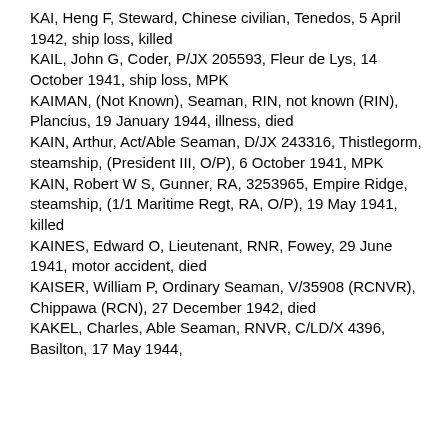KAI, Heng F, Steward, Chinese civilian, Tenedos, 5 April 1942, ship loss, killed
KAIL, John G, Coder, P/JX 205593, Fleur de Lys, 14 October 1941, ship loss, MPK
KAIMAN, (Not Known), Seaman, RIN, not known (RIN), Plancius, 19 January 1944, illness, died
KAIN, Arthur, Act/Able Seaman, D/JX 243316, Thistlegorm, steamship, (President III, O/P), 6 October 1941, MPK
KAIN, Robert W S, Gunner, RA, 3253965, Empire Ridge, steamship, (1/1 Maritime Regt, RA, O/P), 19 May 1941, killed
KAINES, Edward O, Lieutenant, RNR, Fowey, 29 June 1941, motor accident, died
KAISER, William P, Ordinary Seaman, V/35908 (RCNVR), Chippawa (RCN), 27 December 1942, died
KAKEL, Charles, Able Seaman, RNVR, C/LD/X 4396, Basildon, 17 May 1944,